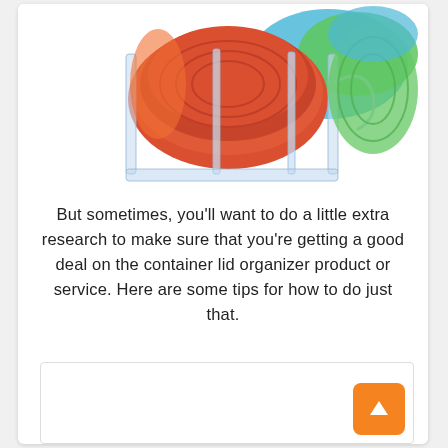[Figure (photo): A clear plastic container lid organizer holding multiple colorful food storage lids (red, green, blue, orange) organized vertically in compartments, viewed from slightly above at an angle.]
But sometimes, you'll want to do a little extra research to make sure that you're getting a good deal on the container lid organizer product or service. Here are some tips for how to do just that.
[Figure (other): A partially visible content box or embedded widget area at the bottom of the page, with an orange scroll-to-top button (↑) in the bottom-right corner.]